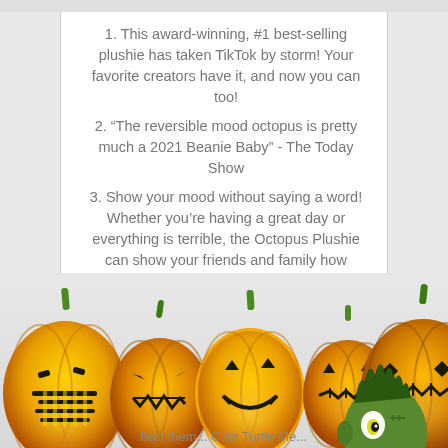This award-winning, #1 best-selling plushie has taken TikTok by storm! Your favorite creators have it, and now you can too!
“The reversible mood octopus is pretty much a 2021 Beanie Baby” - The Today Show
Show your mood without saying a word! Whether you’re having a great day or everything is terrible, the Octopus Plushie can show your friends and family how you’re feeling. Simply flip the plushie to its happy face or its angry face.
Over 24,000 5 star reviews! Kids and adults alike will love the supersoft fabric and portable size of the plushie collection.
[Figure (illustration): Row of carved Halloween jack-o-lantern pumpkins in orange and yellow with glowing faces, different expressions and designs. A green zombie/monster character peeks out from the right side. Partially obscures bottom list item text.]
Collect them! Cute Turtle Me...